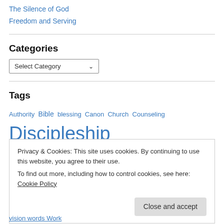The Silence of God
Freedom and Serving
Categories
[Figure (screenshot): A dropdown selector labeled 'Select Category' with a chevron arrow]
Tags
Authority  Bible  blessing  Canon  Church  Counseling  Discipleship
Privacy & Cookies: This site uses cookies. By continuing to use this website, you agree to their use.
To find out more, including how to control cookies, see here: Cookie Policy
Close and accept
vision words Work